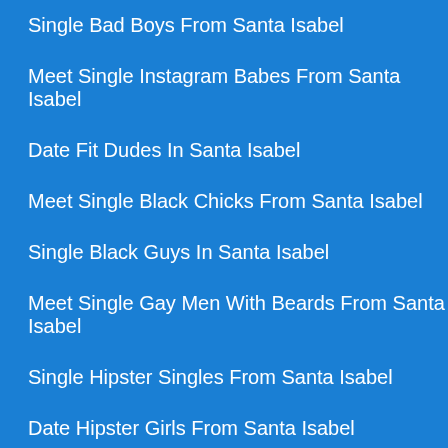Single Bad Boys From Santa Isabel
Meet Single Instagram Babes From Santa Isabel
Date Fit Dudes In Santa Isabel
Meet Single Black Chicks From Santa Isabel
Single Black Guys In Santa Isabel
Meet Single Gay Men With Beards From Santa Isabel
Single Hipster Singles From Santa Isabel
Date Hipster Girls From Santa Isabel
Meet Single Euro Girls From Santa Isabel
Date Cops In Santa Isabel
Date Latinas In Santa Isabel